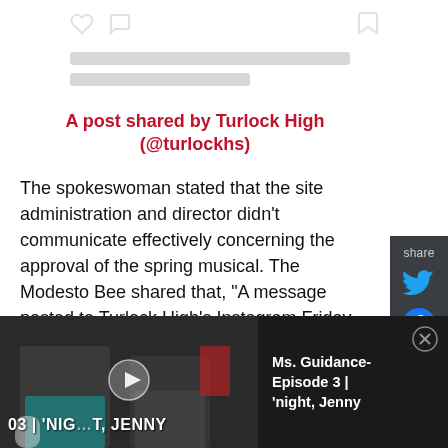[Figure (screenshot): Social media icon bar with heart, comment bubble, and bookmark icons]
A post shared by Turlock High (@turlockhs)
The spokeswoman stated that the site administration and director didn't communicate effectively concerning the approval of the spring musical. The Modesto Bee shared that, "A message posted to Turlock High's Instagram Friday said the district will
[Figure (screenshot): Video player overlay showing Ms. Guidance Episode 3 'night, Jenny with thumbnail of two men and play button]